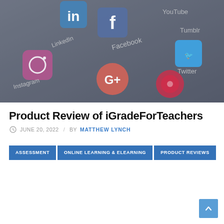[Figure (photo): Close-up photo of a smartphone screen displaying social media app icons including LinkedIn, Facebook, Instagram, Google+, YouTube, Tumblr, Twitter, and Pinterest on a dark background.]
Product Review of iGradeForTeachers
JUNE 20, 2022 / BY MATTHEW LYNCH
ASSESSMENT
ONLINE LEARNING & ELEARNING
PRODUCT REVIEWS